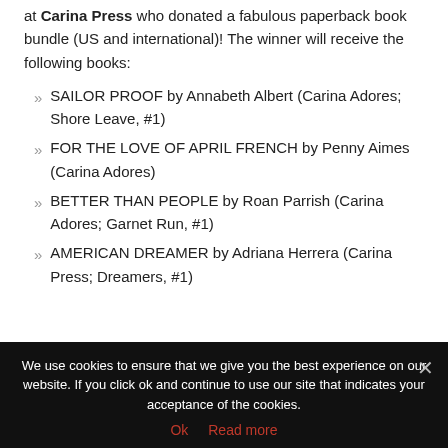at Carina Press who donated a fabulous paperback book bundle (US and international)! The winner will receive the following books:
SAILOR PROOF by Annabeth Albert (Carina Adores; Shore Leave, #1)
FOR THE LOVE OF APRIL FRENCH by Penny Aimes (Carina Adores)
BETTER THAN PEOPLE by Roan Parrish (Carina Adores; Garnet Run, #1)
AMERICAN DREAMER by Adriana Herrera (Carina Press; Dreamers, #1)
We use cookies to ensure that we give you the best experience on our website. If you click ok and continue to use our site that indicates your acceptance of the cookies.